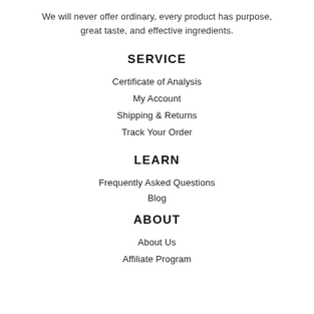We will never offer ordinary, every product has purpose, great taste, and effective ingredients.
SERVICE
Certificate of Analysis
My Account
Shipping & Returns
Track Your Order
LEARN
Frequently Asked Questions
Blog
ABOUT
About Us
Affiliate Program